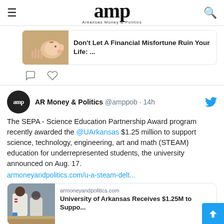amp Arkansas Money & Politics
[Figure (screenshot): Partial tweet card showing a piggy bank thumbnail and article link: 'Don't Let A Financial Misfortune Ruin Your Life: ...' with comment and like icons below.]
[Figure (screenshot): Tweet by AR Money & Politics @amppob · 14h with Twitter bird logo. Avatar: black circle with 'amp' text. Tweet body: 'The SEPA - Science Education Partnership Award program recently awarded the @UArkansas $1.25 million to support science, technology, engineering, art and math (STEAM) education for underrepresented students, the university announced on Aug. 17. armoneyandpolitics.com/u-a-steam-delt...' with a link card showing armoneyandpolitics.com and 'University of Arkansas Receives $1.25M to Suppo...' A scroll-to-top blue button appears at bottom right.]